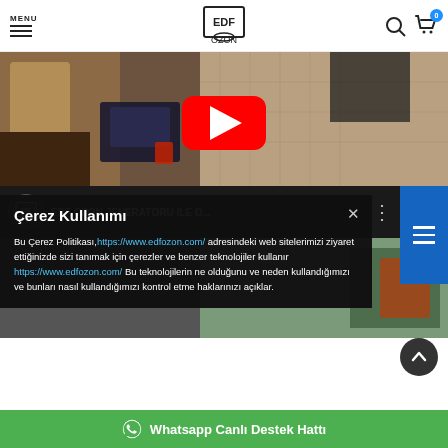MENU | EDF OZON logo | Search | Cart (0)
[Figure (screenshot): Video thumbnail of a car interior with leather seats and wooden trim, with a red YouTube play button overlay]
[Figure (screenshot): YouTube video info bar showing EDF OZON logo and title 'EDF OZON JENERATÖRÜ İLE O...' with three-dot menu]
Çerez Kullanımı
Bu Çerez Politikası, https://www.edfozon.com/ adresindeki web sitelerimizi ziyaret ettiğinizde sizi tanımak için çerezler ve benzer teknolojiler kullanır https://www.edfozon.com/ Bu teknolojilerin ne olduğunu ve neden kullandığımızı ve bunları nasıl kullandığımızı kontrol etme haklarınızı açıklar.
[Figure (screenshot): Outdoor scene partially visible behind the cookie popup]
Whatsapp Canlı Destek Hattı